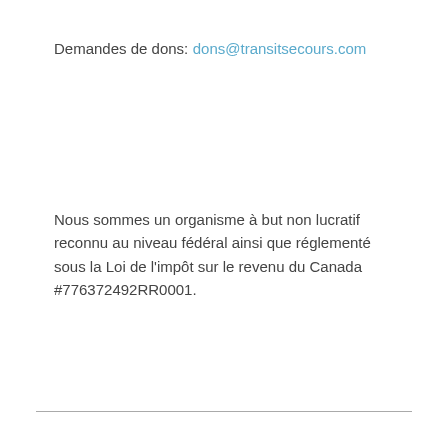Demandes de dons:
dons@transitsecours.com
Nous sommes un organisme à but non lucratif reconnu au niveau fédéral ainsi que réglementé sous la Loi de l'impôt sur le revenu du Canada #776372492RR0001.